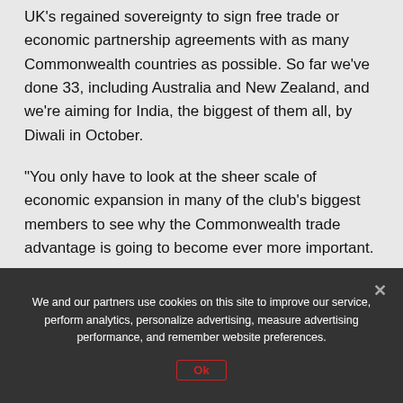UK's regained sovereignty to sign free trade or economic partnership agreements with as many Commonwealth countries as possible. So far we've done 33, including Australia and New Zealand, and we're aiming for India, the biggest of them all, by Diwali in October.
"You only have to look at the sheer scale of economic expansion in many of the club's biggest members to see why the Commonwealth trade advantage is going to become ever more important.
"Here are the growing markets for British exports that will create jobs at home and – at the same time – ease
We and our partners use cookies on this site to improve our service, perform analytics, personalize advertising, measure advertising performance, and remember website preferences.
Ok